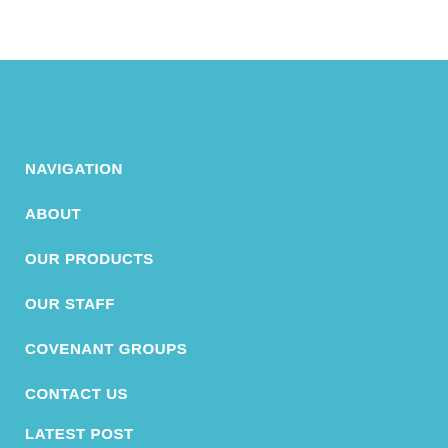NAVIGATION
ABOUT
OUR PRODUCTS
OUR STAFF
COVENANT GROUPS
CONTACT US
LATEST POST